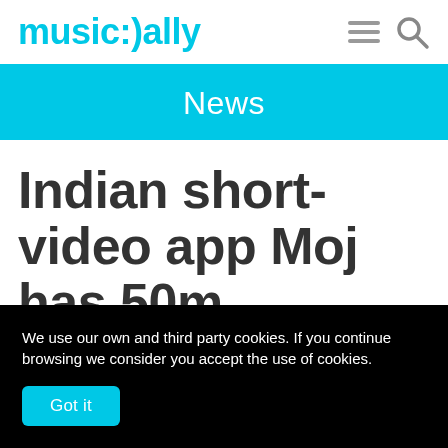music:)ally
News
Indian short-video app Moj has 50m
We use our own and third party cookies. If you continue browsing we consider you accept the use of cookies.
Got it